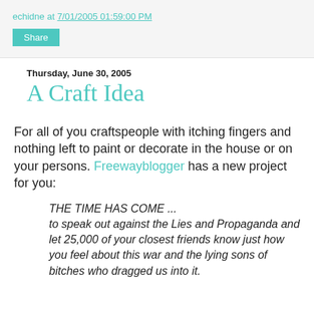echidne at 7/01/2005 01:59:00 PM
Share
Thursday, June 30, 2005
A Craft Idea
For all of you craftspeople with itching fingers and nothing left to paint or decorate in the house or on your persons. Freewayblogger has a new project for you:
THE TIME HAS COME ... to speak out against the Lies and Propaganda and let 25,000 of your closest friends know just how you feel about this war and the lying sons of bitches who dragged us into it.